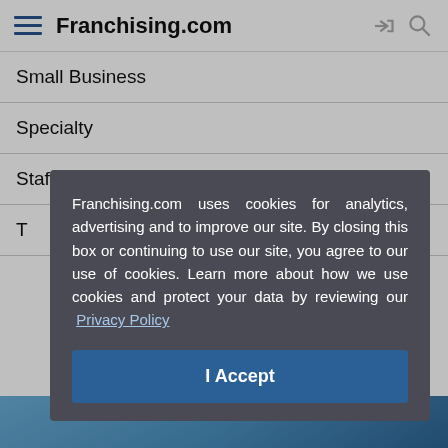Franchising.com
Small Business
Specialty
Staffing
T
Franchising.com uses cookies for analytics, advertising and to improve our site. By closing this box or continuing to use our site, you agree to our use of cookies. Learn more about how we use cookies and protect your data by reviewing our Privacy Policy
I Accept